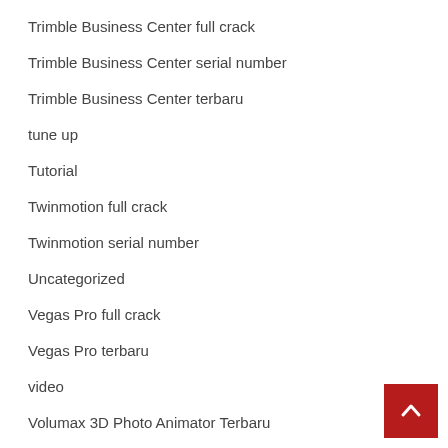Trimble Business Center full crack
Trimble Business Center serial number
Trimble Business Center terbaru
tune up
Tutorial
Twinmotion full crack
Twinmotion serial number
Uncategorized
Vegas Pro full crack
Vegas Pro terbaru
video
Volumax 3D Photo Animator Terbaru
web desain